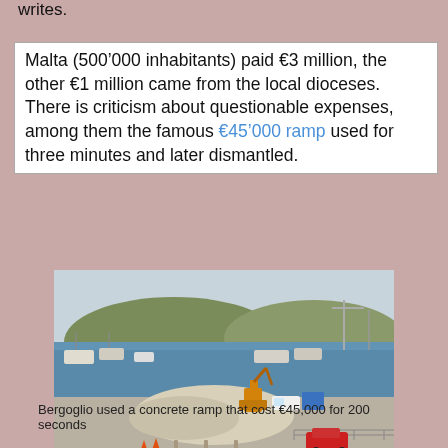writes.
Malta (500’000 inhabitants) paid €3 million, the other €1 million came from the local dioceses. There is criticism about questionable expenses, among them the famous €45’000 ramp used for three minutes and later dismantled.
[Figure (photo): A construction site at a harbor showing a large pile of rubble/aggregate, an orange excavator, vehicles including a red car, boats in the water, and hills in the background.]
Bergoglio used a concrete ramp that cost €45,000 for 200 seconds